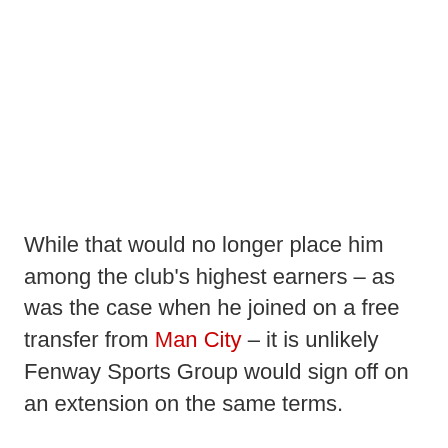While that would no longer place him among the club's highest earners – as was the case when he joined on a free transfer from Man City – it is unlikely Fenway Sports Group would sign off on an extension on the same terms.